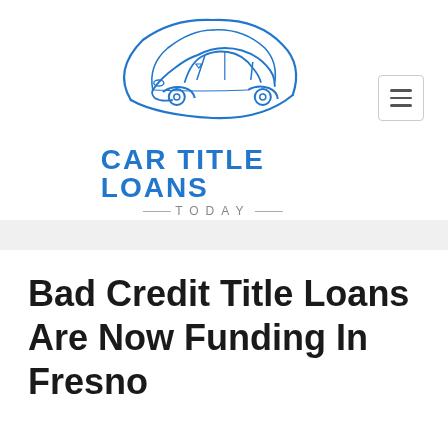[Figure (logo): Car Title Loans Today logo — line-art sports car above the text 'CAR TITLE LOANS TODAY' in blue and gray]
Bad Credit Title Loans Are Now Funding In Fresno